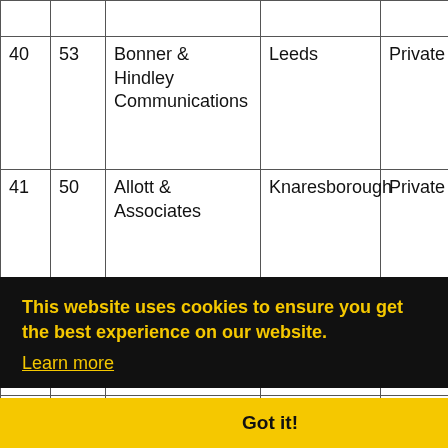| # | # | Firm | Location | Type | Clients |
| --- | --- | --- | --- | --- | --- |
|  |  |  |  |  | Lond… |
| 40 | 53 | Bonner & Hindley Communications | Leeds | Private | Bow… Vint… Mus… Don… Airp… |
| 41 | 50 | Allott & Associates | Knaresborough | Private | Smo… GEA… Onv… |
|  |  |  |  |  | Miel… Stor… Gaz… Med… |
|  |  |  |  |  | Sew… Ada… Ava… |
| 44 | 26 | RMS | Altrincham | Private | Kell… |
This website uses cookies to ensure you get the best experience on our website. Learn more
Got it!